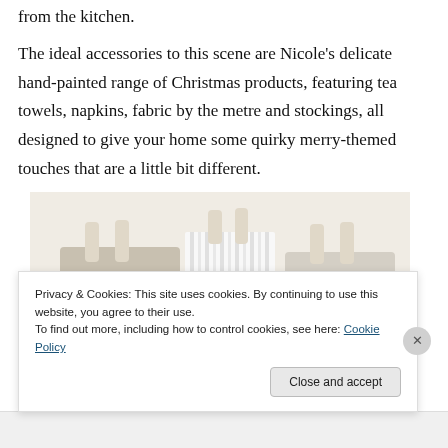from the kitchen.
The ideal accessories to this scene are Nicole's delicate hand-painted range of Christmas products, featuring tea towels, napkins, fabric by the metre and stockings, all designed to give your home some quirky merry-themed touches that are a little bit different.
[Figure (photo): Hand-painted Christmas fabric products including tea towels and other items displayed together]
Privacy & Cookies: This site uses cookies. By continuing to use this website, you agree to their use.
To find out more, including how to control cookies, see here: Cookie Policy
Close and accept